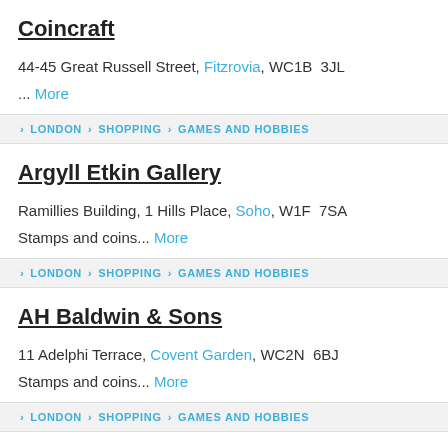Coincraft
44-45 Great Russell Street, Fitzrovia, WC1B  3JL
... More
> LONDON > SHOPPING > GAMES AND HOBBIES
Argyll Etkin Gallery
Ramillies Building, 1 Hills Place, Soho, W1F  7SA
Stamps and coins... More
> LONDON > SHOPPING > GAMES AND HOBBIES
AH Baldwin & Sons
11 Adelphi Terrace, Covent Garden, WC2N  6BJ
Stamps and coins... More
> LONDON > SHOPPING > GAMES AND HOBBIES